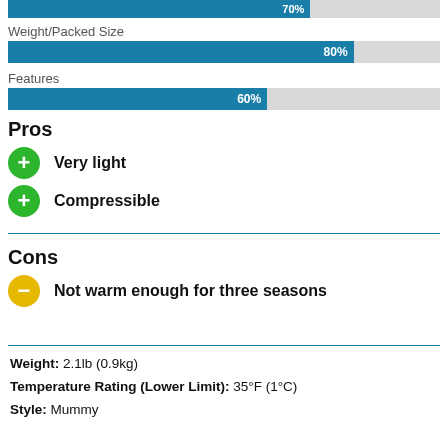[Figure (bar-chart): Top bar (partial)]
Weight/Packed Size
[Figure (bar-chart): Weight/Packed Size]
Features
[Figure (bar-chart): Features]
Pros
Very light
Compressible
Cons
Not warm enough for three seasons
Weight: 2.1lb (0.9kg)
Temperature Rating (Lower Limit): 35°F (1°C)
Style: Mummy